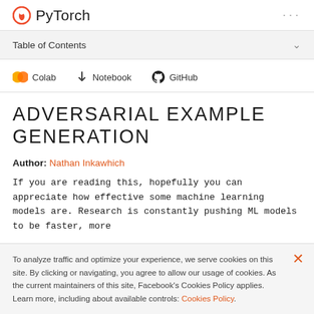PyTorch
Table of Contents
Colab  Notebook  GitHub
ADVERSARIAL EXAMPLE GENERATION
Author: Nathan Inkawhich
If you are reading this, hopefully you can appreciate how effective some machine learning models are. Research is constantly pushing ML models to be faster, more
To analyze traffic and optimize your experience, we serve cookies on this site. By clicking or navigating, you agree to allow our usage of cookies. As the current maintainers of this site, Facebook's Cookies Policy applies. Learn more, including about available controls: Cookies Policy.